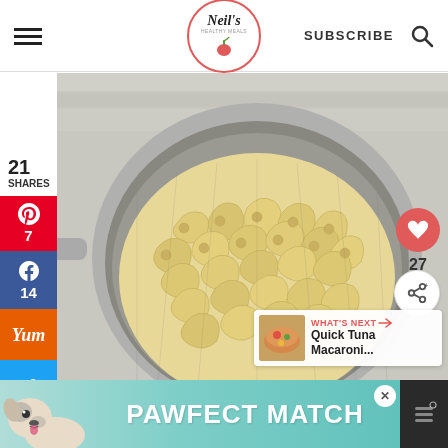Neil's Healthy Meals — SUBSCRIBE
[Figure (photo): Close-up photo of cooked elbow macaroni pasta in a metal colander/strainer, on a white wooden surface background]
21 SHARES
7 (Pinterest shares)
14 (Facebook shares)
27 (heart saves)
WHAT'S NEXT → Quick Tuna Macaroni...
[Figure (photo): Small thumbnail of Quick Tuna Macaroni dish]
[Figure (photo): PAWFECT MATCH advertisement banner with dog photo]